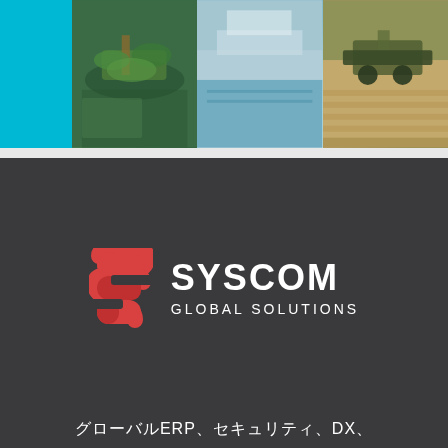[Figure (photo): Top banner with blue strip on left and three photos: fishing boat among green plants, outdoor pool with blue sky, combine harvester in golden field]
[Figure (logo): SYSCOM GLOBAL SOLUTIONS logo — red double-S ribbon icon on left, white bold SYSCOM text and GLOBAL SOLUTIONS beneath it, on dark charcoal background]
グローバルERP、セキュリティ、DX、